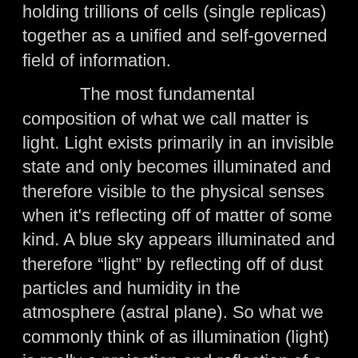holding trillions of cells (single replicas) together as a unified and self-governed field of information.

The most fundamental composition of what we call matter is light. Light exists primarily in an invisible state and only becomes illuminated and therefore visible to the physical senses when it's reflecting off of matter of some kind. A blue sky appears illuminated and therefore “light” by reflecting off of dust particles and humidity in the atmosphere (astral plane). So what we commonly think of as illumination (light) is really a projection and reflection of a dark field of energy. Energy as light is invisible to the physical senses whenever it’s not being reflected off of something. Light itself exists in seven basic aspects as a spectrum of colors (values) that represent what frequency it vibrates at, moving from a slower, lower waveform to a faster, and higher one.